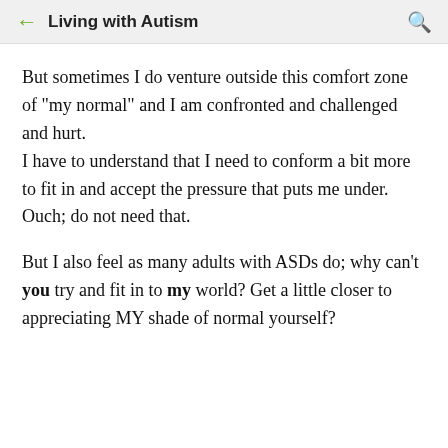Living with Autism
But sometimes I do venture outside this comfort zone of "my normal" and I am confronted and challenged and hurt.
I have to understand that I need to conform a bit more to fit in and accept the pressure that puts me under. Ouch; do not need that.
But I also feel as many adults with ASDs do; why can't you try and fit in to my world? Get a little closer to appreciating MY shade of normal yourself?